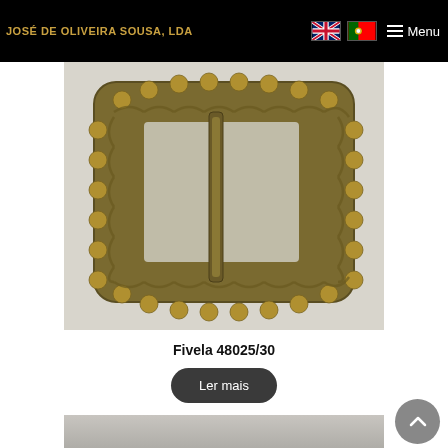JOSÉ DE OLIVEIRA SOUSA, LDA
[Figure (photo): Close-up photograph of an antique bronze/brass decorative belt buckle with ornate beaded border and a central bar, rectangular shape with rounded corners, on a light background.]
Fivela 48025/30
Ler mais
[Figure (photo): Partial view of a second product image showing a light grey/silver surface, possibly another buckle or metal accessory.]